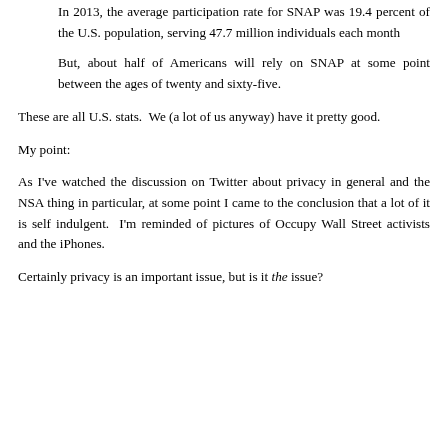In 2013, the average participation rate for SNAP was 19.4 percent of the U.S. population, serving 47.7 million individuals each month
But, about half of Americans will rely on SNAP at some point between the ages of twenty and sixty-five.
These are all U.S. stats.  We (a lot of us anyway) have it pretty good.
My point:
As I've watched the discussion on Twitter about privacy in general and the NSA thing in particular, at some point I came to the conclusion that a lot of it is self indulgent.  I'm reminded of pictures of Occupy Wall Street activists and the iPhones.
Certainly privacy is an important issue, but is it the issue?